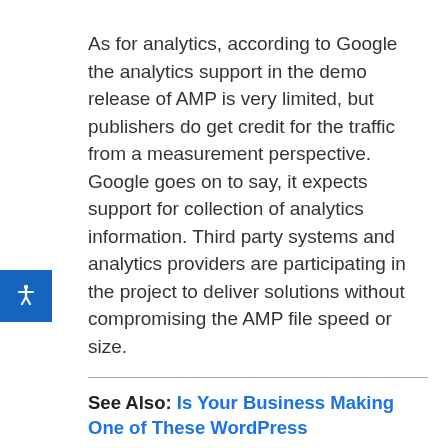As for analytics, according to Google the analytics support in the demo release of AMP is very limited, but publishers do get credit for the traffic from a measurement perspective. Google goes on to say, it expects support for collection of analytics information. Third party systems and analytics providers are participating in the project to deliver solutions without compromising the AMP file speed or size.
See Also: Is Your Business Making One of These WordPress
[Figure (other): Advertisement box showing Leesburg store with OPEN status, hours 10AM-9PM, address 241 Fort Evans Rd NE, Leesburg, with a navigation icon and ad controls]